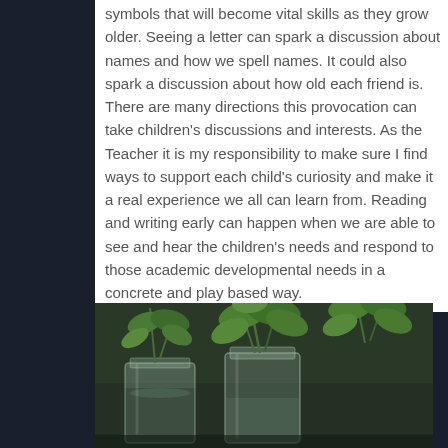symbols that will become vital skills as they grow older. Seeing a letter can spark a discussion about names and how we spell names. It could also spark a discussion about how old each friend is. There are many directions this provocation can take children's discussions and interests. As the Teacher it is my responsibility to make sure I find ways to support each child's curiosity and make it a real experience we all can learn from. Reading and writing early can happen when we are able to see and hear the children's needs and respond to those academic developmental needs in a concrete and play based way.
[Figure (photo): Photo of glass jars containing green plant cuttings or stems with leaves, placed on a surface, dark background]